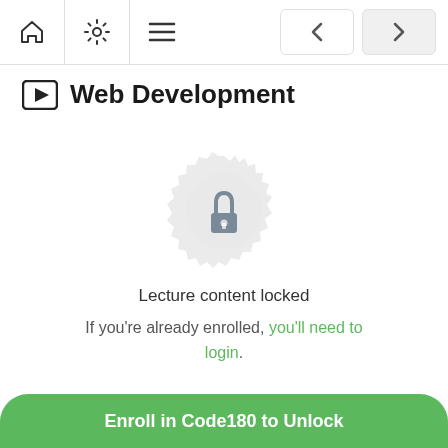Web Development — navigation bar with home, settings, menu, back and forward buttons
Web Development
[Figure (illustration): A circular badge/seal with a lock icon in the center, indicating locked content]
Lecture content locked
If you're already enrolled, you'll need to login.
Enroll in Code180 to Unlock